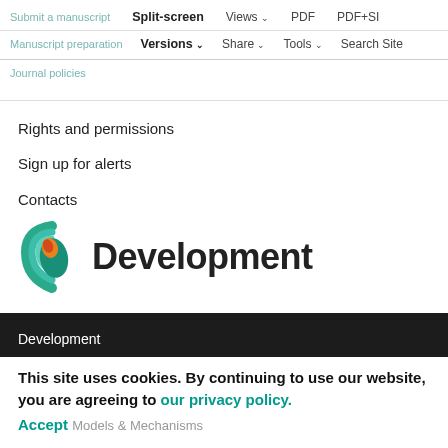Submit a manuscript | Split-screen | Views | PDF | PDF+SI
Manuscript preparation | Versions | Share | Tools | Search Site
Rights and permissions
Sign up for alerts
Contacts
[Figure (logo): Development journal logo with colorful circular bird/leaf graphic and bold 'Development' wordmark]
Development
This site uses cookies. By continuing to use our website, you are agreeing to our privacy policy. Accept
Journal of Cell Science | Journal of Experimental Biology | Models & Mechanisms | Biology Open